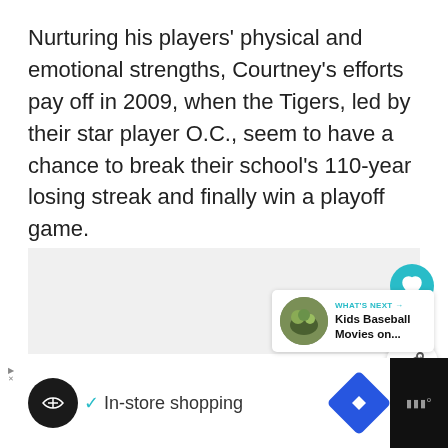Nurturing his players' physical and emotional strengths, Courtney's efforts pay off in 2009, when the Tigers, led by their star player O.C., seem to have a chance to break their school's 110-year losing streak and finally win a playoff game.
[Figure (screenshot): Gray content placeholder box with floating UI elements: a teal heart/like button showing count 50, a share button, a 'What's Next' panel showing Kids Baseball Movies on..., and an advertisement bar at the bottom with In-store shopping text.]